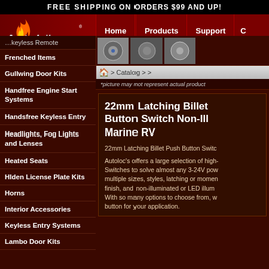FREE SHIPPING ON ORDERS $99 AND UP!
[Figure (screenshot): AutoLoc logo with flame graphic on dark red navigation bar with Home, Products, Support navigation links]
[Figure (screenshot): Product thumbnail images strip showing billet push button switches]
> Catalog > >
*picture may not represent actual product
Keyless Remote
Frenched Items
Gullwing Door Kits
Handfree Engine Start Systems
Handsfree Keyless Entry
Headlights, Fog Lights and Lenses
Heated Seats
HIden License Plate Kits
Horns
Interior Accessories
Keyless Entry Systems
Lambo Door Kits
22mm Latching Billet Button Switch Non-Ill Marine RV
22mm Latching Billet Push Button Switc
Autoloc's offers a large selection of high- Switches to solve almost any 3-24V pow multiple sizes, styles, latching or momen finish, and non-illuminated or LED illum With so many options to choose from, w button for your application.